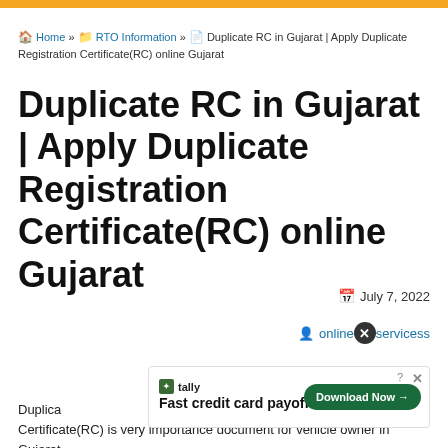Home » RTO Information » Duplicate RC in Gujarat | Apply Duplicate Registration Certificate(RC) online Gujarat
Duplicate RC in Gujarat | Apply Duplicate Registration Certificate(RC) online Gujarat
July 7, 2022
onlineservices
[Figure (other): Advertisement banner: Tally - Fast credit card payoff, Download Now button]
Duplicate RC in Gujarat Duplicate Registration Certificate(RC) is very importance document for vehicle owner in Gujarat. When a registration certificate(RC) of a vehicle is reported